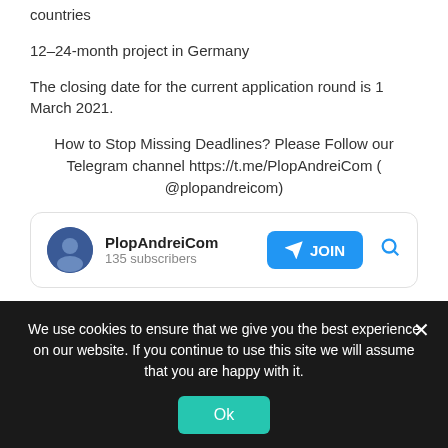countries
12–24-month project in Germany
The closing date for the current application round is 1 March 2021.
How to Stop Missing Deadlines? Please Follow our Telegram channel https://t.me/PlopAndreiCom ( @plopandreicom)
[Figure (other): Telegram channel widget showing PlopAndreiCom with 135 subscribers and a JOIN button]
Fellowship for
We use cookies to ensure that we give you the best experience on our website. If you continue to use this site we will assume that you are happy with it.